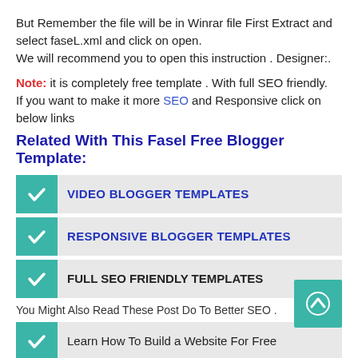But Remember the file will be in Winrar file First Extract and select faseL.xml and click on open.
We will recommend you to open this instruction . Designer:.
Note: it is completely free template . With full SEO friendly.
If you want to make it more SEO and Responsive click on below links
Related With This Fasel Free Blogger Template:
VIDEO BLOGGER TEMPLATES
RESPONSIVE BLOGGER TEMPLATES
FULL SEO FRIENDLY TEMPLATES
You Might Also Read These Post Do To Better SEO .
Learn How To Build a Website For Free
How To Submit Blogger Site map To Google Webmaster...
How To Write a Good Blog
How To Write Seo Friendly Blog Posts
How Can You Add Metadata Tags